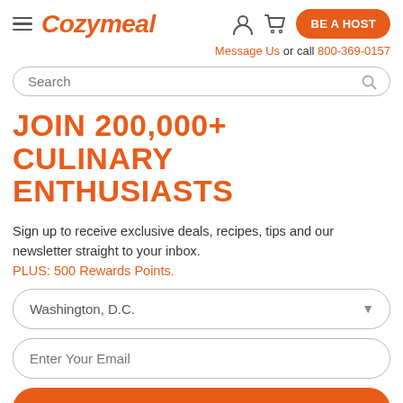Cozymeal — BE A HOST — Message Us or call 800-369-0157
Search
JOIN 200,000+ CULINARY ENTHUSIASTS
Sign up to receive exclusive deals, recipes, tips and our newsletter straight to your inbox.
PLUS: 500 Rewards Points.
Washington, D.C.
Enter Your Email
SIGN UP & SAVE